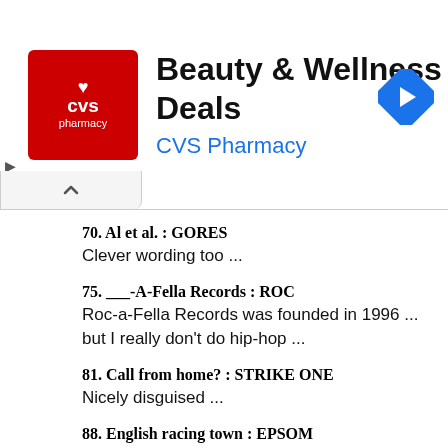[Figure (other): CVS Pharmacy advertisement banner showing CVS logo in red square, 'Beauty & Wellness Deals' headline, 'CVS Pharmacy' in blue, and a blue navigation arrow icon on the right]
70. Al et al. : GORES
Clever wording too ...
75. ___-A-Fella Records : ROC
Roc-a-Fella Records was founded in 1996 ... but I really don't do hip-hop ...
81. Call from home? : STRIKE ONE
Nicely disguised ...
88. English racing town : EPSOM
Epsom is most famous for its racecourse, at which is run the Epsom Derby every year, one of the three races that comprise the English Triple Crown. You